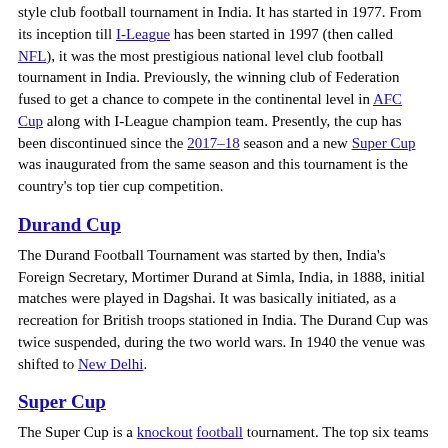style club football tournament in India. It has started in 1977. From its inception till I-League has been started in 1997 (then called NFL), it was the most prestigious national level club football tournament in India. Previously, the winning club of Federation fused to get a chance to compete in the continental level in AFC Cup along with I-League champion team. Presently, the cup has been discontinued since the 2017–18 season and a new Super Cup was inaugurated from the same season and this tournament is the country's top tier cup competition.
Durand Cup
The Durand Football Tournament was started by then, India's Foreign Secretary, Mortimer Durand at Simla, India, in 1888, initial matches were played in Dagshai. It was basically initiated, as a recreation for British troops stationed in India. The Durand Cup was twice suspended, during the two world wars. In 1940 the venue was shifted to New Delhi.
Super Cup
The Super Cup is a knockout football tournament. The top six teams from both the top-tier leagues for professional football in India, the I-League and Indian Super League, qualify directly for the semi-round of the competition. The bottom four clubs from...